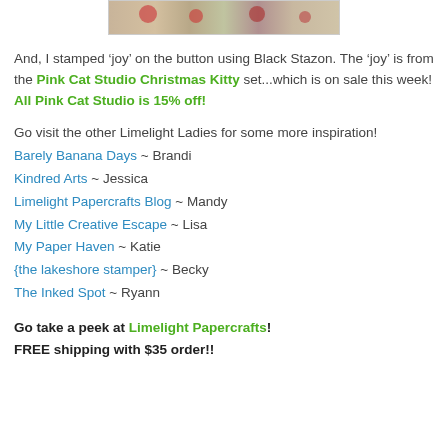[Figure (photo): Partial image of a floral/Christmas-themed fabric or paper with red and green design, shown at top of page]
And, I stamped 'joy' on the button using Black Stazon. The 'joy' is from the Pink Cat Studio Christmas Kitty set...which is on sale this week!
All Pink Cat Studio is 15% off!
Go visit the other Limelight Ladies for some more inspiration!
Barely Banana Days ~ Brandi
Kindred Arts ~ Jessica
Limelight Papercrafts Blog ~ Mandy
My Little Creative Escape ~ Lisa
My Paper Haven ~ Katie
{the lakeshore stamper} ~ Becky
The Inked Spot ~ Ryann
Go take a peek at Limelight Papercrafts! FREE shipping with $35 order!!